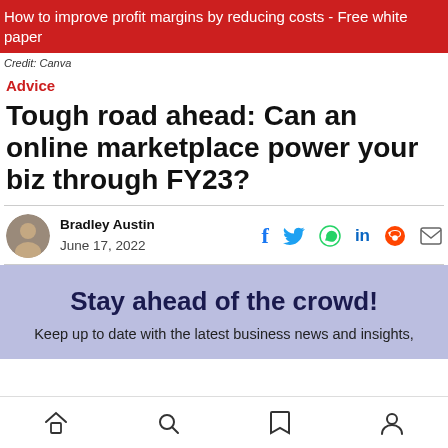How to improve profit margins by reducing costs - Free white paper
Credit: Canva
Advice
Tough road ahead: Can an online marketplace power your biz through FY23?
Bradley Austin
June 17, 2022
[Figure (infographic): Stay ahead of the crowd! Keep up to date with the latest business news and insights,]
Home | Search | Bookmark | Profile navigation icons